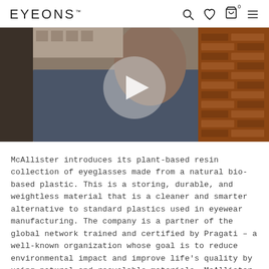EYEONS™
[Figure (photo): A man in a navy blue jacket standing near a brick building, holding something up to his face. A circular play button overlay is visible in the center of the image.]
McAllister introduces its plant-based resin collection of eyeglasses made from a natural bio-based plastic. This is a storing, durable, and weightless material that is a cleaner and smarter alternative to standard plastics used in eyewear manufacturing. The company is a partner of the global network trained and certified by Pragati – a well-known organization whose goal is to reduce environmental impact and improve life's quality by using natural and recyclable materials. McAllister is